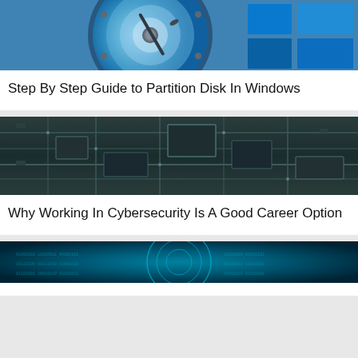[Figure (photo): Close-up photo of an open hard disk drive with blue metallic platter and read/write arm, with Windows logo tiles visible in background]
Step By Step Guide to Partition Disk In Windows
[Figure (photo): Close-up photo of a green/teal circuit board with electronic components and traces]
Why Working In Cybersecurity Is A Good Career Option
[Figure (photo): Teal digital cybersecurity image showing a glowing lock or face overlay with binary code]